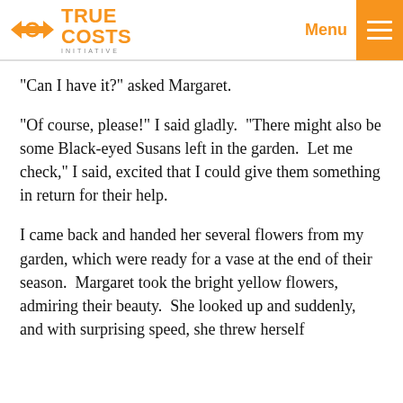True Costs Initiative — Menu
"Can I have it?" asked Margaret.
"Of course, please!" I said gladly.  "There might also be some Black-eyed Susans left in the garden.  Let me check," I said, excited that I could give them something in return for their help.
I came back and handed her several flowers from my garden, which were ready for a vase at the end of their season.  Margaret took the bright yellow flowers, admiring their beauty.  She looked up and suddenly, and with surprising speed, she threw herself